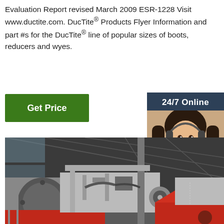Evaluation Report revised March 2009 ESR-1228 Visit www.ductite.com. DucTite® Products Flyer Information and part #s for the DucTite® line of popular sizes of boots, reducers and wyes.
[Figure (other): Green 'Get Price' button]
[Figure (other): Customer service chat widget with '24/7 Online' header, photo of woman with headset, 'Click here for free chat!' text, and orange QUOTATION button]
[Figure (photo): Industrial manufacturing machine in a factory setting, showing red and grey heavy machinery with various mechanical components, pipes, and equipment in a large industrial hall]